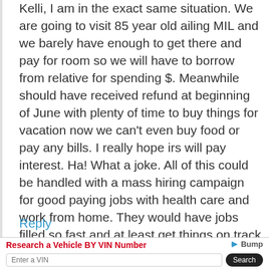Kelli, I am in the exact same situation. We are going to visit 85 year old ailing MIL and we barely have enough to get there and pay for room so we will have to borrow from relative for spending $. Meanwhile should have received refund at beginning of June with plenty of time to buy things for vacation now we can't even buy food or pay any bills. I really hope irs will pay interest. Ha! What a joke. All of this could be handled with a mass hiring campaign for good paying jobs with health care and work from home. They would have jobs filled so fast and at least get things on track for future. I'm so depressed Good luck I hope things work out for you!
Reply
[Figure (other): Advertisement banner: 'Research a Vehicle BY VIN Number' with Bump logo, VIN input field and Search button]